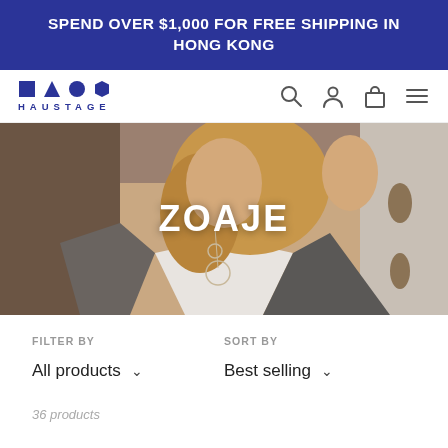SPEND OVER $1,000 FOR FREE SHIPPING IN HONG KONG
[Figure (logo): HAUSTAGE logo with geometric shapes (square, triangle, circle, hexagon) in dark blue, with letters H A U S T A G E below]
[Figure (photo): Woman wearing layered necklaces and bracelet, dressed in white top and grey cardigan, with brand name ZOAJE overlaid in white text]
FILTER BY
All products ∨
SORT BY
Best selling ∨
36 products